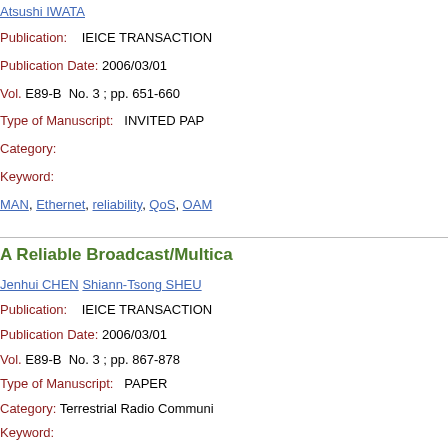Atsushi IWATA
Publication: IEICE TRANSACTIONS
Publication Date: 2006/03/01
Vol. E89-B No. 3 ; pp. 651-660
Type of Manuscript: INVITED PAPER
Category:
Keyword:
MAN, Ethernet, reliability, QoS, OAM
A Reliable Broadcast/Multica...
Jenhui CHEN  Shiann-Tsong SHEU
Publication: IEICE TRANSACTIONS
Publication Date: 2006/03/01
Vol. E89-B No. 3 ; pp. 867-878
Type of Manuscript: PAPER
Category: Terrestrial Radio Communi...
Keyword:
ad hoc, broadcast, MAC, multicast, p...
On-Chip Thermal Gradient A...
Takashi SATO  Junji ICHIMIYA  Nobu...
Publication: IEICE TRANSACTIONS